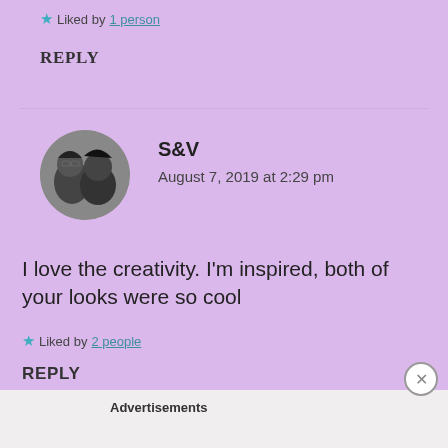Liked by 1 person
REPLY
[Figure (photo): Circular avatar photo of two people, black and white image]
S&V
August 7, 2019 at 2:29 pm
I love the creativity. I'm inspired, both of your looks were so cool
Liked by 2 people
REPLY
Advertisements